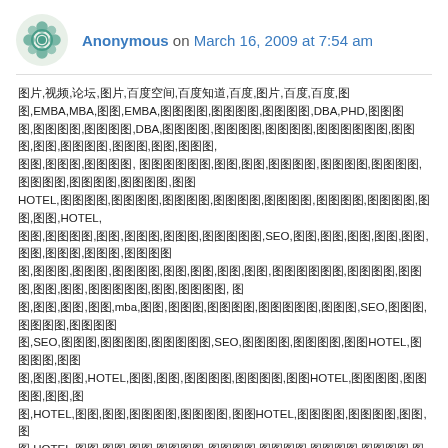Anonymous on March 16, 2009 at 7:54 am
图片,视频,论坛,图片,百度空间,百度知道,百度,图片,百度,百度,图
图,EMBA,MBA,图图,EMBA,图图图图,图图图图,图图图图,DBA,PHD,图图图
图,图图图图,图图图图,DBA,图图图图,图图图图,图图图图,图图图图图图,图图图,图图,图图图图,图图图,图图,图图图,
图图,图图图,图图图图, 图图图图图图,图图,图图,图图图图,图图图图,图图图图,图图图图,图图图图,图图图图,图图
HOTEL,图图图图,图图图图,图图图图,图图图图,图图图图,图图图图,图图图图,图图,图图,HOTEL,
图图,图图图图,图图,图图图,图图图,图图图图图,SEO,图图,图图,图图,图图,图图,图图,图图图,图图图,图图图图
图,图图图,图图图,图图图图,图图,图图,图图,图图,图图图图图图,图图图图,图图图,图图,图图,图图图图图,图图,图图图图, 图
图,图图,图图,图图,mba,图图,图图图,图图图图,图图图图图,图图图,SEO,图图图,图图图图,图图图图
图,SEO,图图图,图图图图,图图图图图,SEO,图图图图,图图图图,图图HOTEL,图图图图,图图
图,图图,图图,HOTEL,图图,图图,图图图图,图图图图,图图HOTEL,图图图图,图图图图,图图,图
图,HOTEL,图图,图图,图图图图,图图图图,图图HOTEL,图图图图,图图图图,图图,图
图,HOTEL,图图,图图,图图,图图图图,图图图图,图图图图,图图图图,图图图图,图图图图,图图图图,图图图图,图
图图图,图图,图图图图,图图图图,图图图图,图图图图,图图图图,图图图图,图图图图,图图图图,图图,图图图图,图图
图图,图图图图,图图图图,图图图图,图图图图,图图图图,图图图图,图图图,图图,图图,图图,图图,图图,图图,